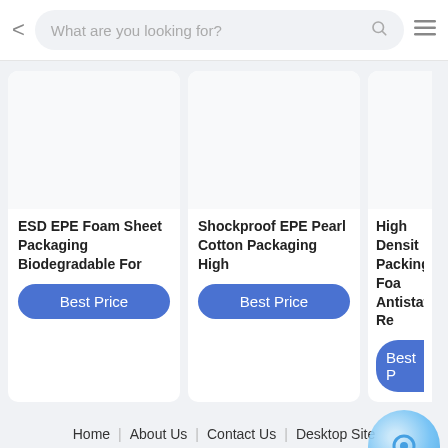What are you looking for?
ESD EPE Foam Sheet Packaging Biodegradable For
Best Price
Shockproof EPE Pearl Cotton Packaging High
Best Price
High Density Packing Foa Antistatic Re
Best P
Home | About Us | Contact Us | Desktop Site
Quality Die Cut Adhesive Tape China Factory.Copyright © 2022 diecutadhesivetape.com. All Rights Reserved.